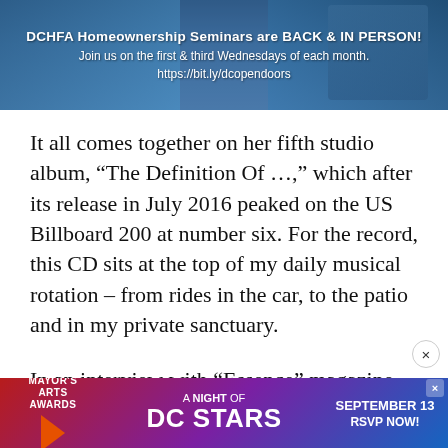[Figure (screenshot): Banner advertisement for DCHFA Homeownership Seminars with blue background and photo of hands. Text reads: 'DCHFA Homeownership Seminars are BACK & IN PERSON! Join us on the first & third Wednesdays of each month. https://bit.ly/dcopendoors']
It all comes together on her fifth studio album, “The Definition Of …,” which after its release in July 2016 peaked on the US Billboard 200 at number six. For the record, this CD sits at the top of my daily musical rotation – from rides in the car, to the patio and in my private sanctuary.
In an interview with “Essence” magazine, she discussed her goals for her newest
[Figure (screenshot): Bottom banner advertisement for Mayor's Arts Awards: A Night of DC Stars, September 13, RSVP Now!]